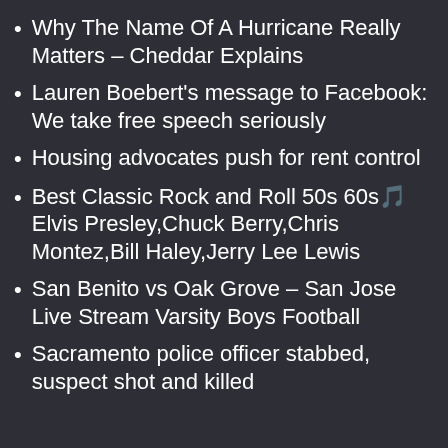Why The Name Of A Hurricane Really Matters – Cheddar Explains
Lauren Boebert's message to Facebook: We take free speech seriously
Housing advocates push for rent control
Best Classic Rock and Roll 50s 60s🎵 Elvis Presley,Chuck Berry,Chris Montez,Bill Haley,Jerry Lee Lewis
San Benito vs Oak Grove – San Jose Live Stream Varsity Boys Football
Sacramento police officer stabbed, suspect shot and killed